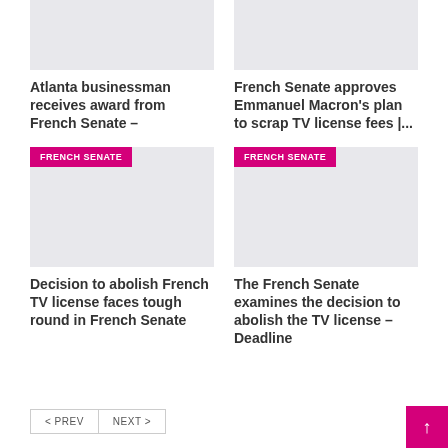[Figure (photo): Placeholder image for Atlanta businessman article]
[Figure (photo): Placeholder image for French Senate TV license article]
Atlanta businessman receives award from French Senate –
French Senate approves Emmanuel Macron's plan to scrap TV license fees |...
[Figure (photo): Placeholder image with FRENCH SENATE badge for Decision to abolish article]
[Figure (photo): Placeholder image with FRENCH SENATE badge for The French Senate examines article]
Decision to abolish French TV license faces tough round in French Senate
The French Senate examines the decision to abolish the TV license – Deadline
< PREV   NEXT >